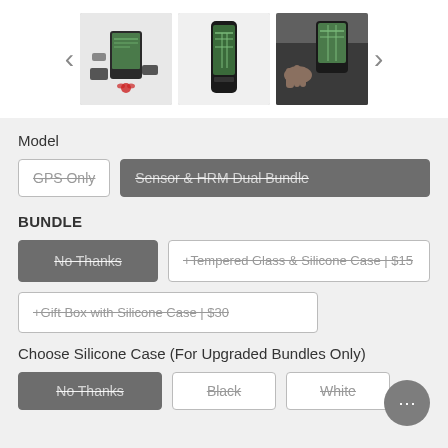[Figure (screenshot): Product image carousel with navigation arrows (< and >) and three product thumbnail images showing a Garmin GPS device bundle, standalone GPS device, and GPS mounted in a vehicle.]
Model
GPS Only (strikethrough, unselected)
Sensor & HRM Dual Bundle (strikethrough, selected/dark)
BUNDLE
No Thanks (strikethrough, selected/dark)
+Tempered Glass & Silicone Case | $15 (strikethrough, unselected)
+Gift Box with Silicone Case | $30 (strikethrough, unselected)
Choose Silicone Case (For Upgraded Bundles Only)
No Thanks (strikethrough, selected/dark)
Black (strikethrough, unselected)
White (strikethrough, unselected)